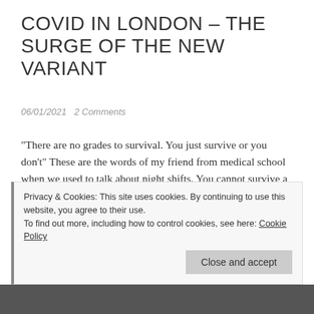COVID IN LONDON – THE SURGE OF THE NEW VARIANT
06/01/2021   2 Comments
"There are no grades to survival. You just survive or you don't" These are the words of my friend from medical school when we used to talk about night shifts. You cannot survive a night shift with style or with flair; you cannot make it looks good; you just make it to 9 am with . . . Continue reading
Privacy & Cookies: This site uses cookies. By continuing to use this website, you agree to their use.
To find out more, including how to control cookies, see here: Cookie Policy
Close and accept